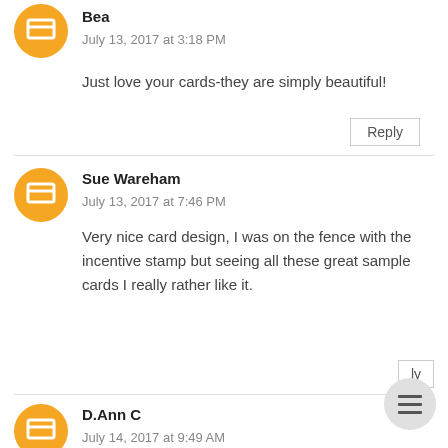Bea
July 13, 2017 at 3:18 PM
Just love your cards-they are simply beautiful!
Sue Wareham
July 13, 2017 at 7:46 PM
Very nice card design, I was on the fence with the incentive stamp but seeing all these great sample cards I really rather like it.
D.Ann C
July 14, 2017 at 9:49 AM